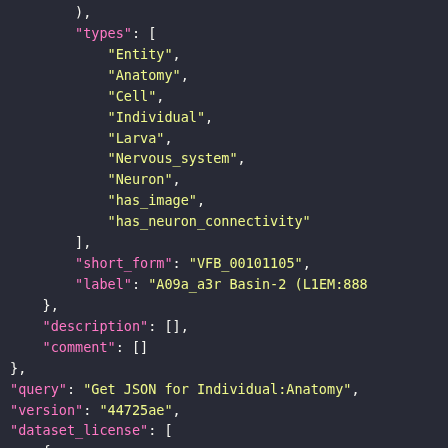JSON code snippet showing types array with Entity, Anatomy, Cell, Individual, Larva, Nervous_system, Neuron, has_image, has_neuron_connectivity; short_form: VFB_00101105; label: A09a_a3r Basin-2 (L1EM:888...; description: []; comment: []; closing brace; query: Get JSON for Individual:Anatomy; version: 44725ae; dataset_license: [ {